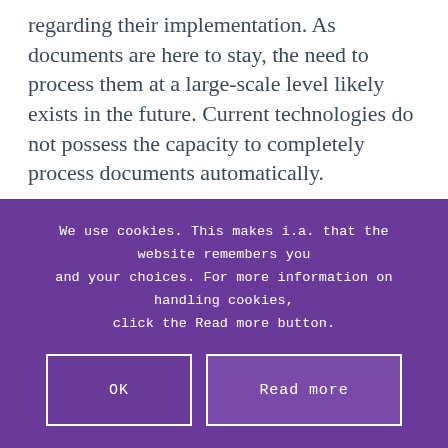regarding their implementation. As documents are here to stay, the need to process them at a large-scale level likely exists in the future. Current technologies do not possess the capacity to completely process documents automatically.
In 2021, as most businesses use documents daily, a dire need for automated document handling is now felt across different sectors. This is where Artificial Intelligence comes into play, wherein complete automation
We use cookies. This makes i.a. that the website remembers you and your choices. For more information on handling cookies, click the Read more button.